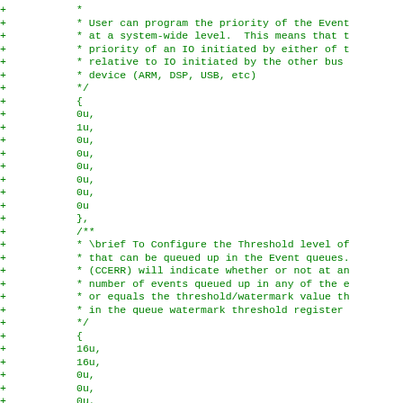Diff/patch code listing showing additions to source code with + markers and green monospace text. Contains comments about Event priority programming and Threshold level configuration, followed by initializer list values including 0u, 1u, 16u entries.